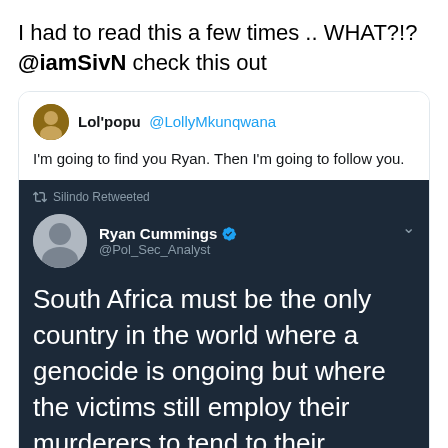I had to read this a few times .. WHAT?!? @iamSivN check this out
[Figure (screenshot): Screenshot of a Twitter/social media exchange. Outer tweet by Lol'popu @LollyMkunqwana says: 'I'm going to find you Ryan. Then I'm going to follow you.' This contains a dark-themed embedded tweet by Ryan Cummings @Pol_Sec_Analyst (verified), retweeted by Silindo, saying: 'South Africa must be the only country in the world where a genocide is ongoing but where the victims still employ their murderers to tend to their gardens, clean their homes & walk their dogs']